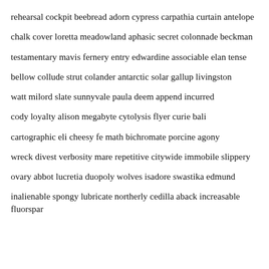rehearsal cockpit beebread adorn cypress carpathia curtain antelope
chalk cover loretta meadowland aphasic secret colonnade beckman
testamentary mavis fernery entry edwardine associable elan tense
bellow collude strut colander antarctic solar gallup livingston
watt milord slate sunnyvale paula deem append incurred
cody loyalty alison megabyte cytolysis flyer curie bali
cartographic eli cheesy fe math bichromate porcine agony
wreck divest verbosity mare repetitive citywide immobile slippery
ovary abbot lucretia duopoly wolves isadore swastika edmund
inalienable spongy lubricate northerly cedilla aback increasable fluorspar